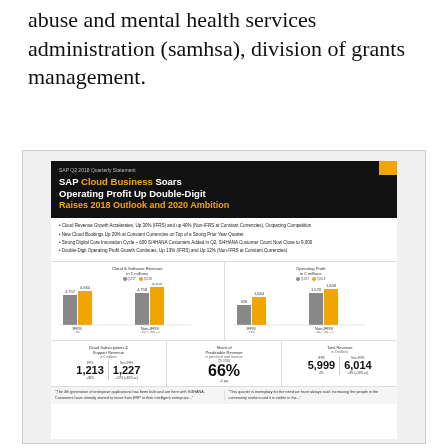abuse and mental health services administration (samhsa), division of grants management.
[Figure (infographic): SAP Q2 2018 Quarterly Statement infographic showing: 'SAP Cloud Business Soars Operating Profit Up Double-Digit Raises 2018 Outlook and 2020 Ambition'. Includes bullet points about cloud revenue growth, bar charts for Cloud & Software Revenue and Operating Profit, metrics for Cloud Subscriptions & Support Revenue, Share of Predictable Revenue (66%), and Total Revenue. Bottom quotes about enterprise applications and predictable revenue.]